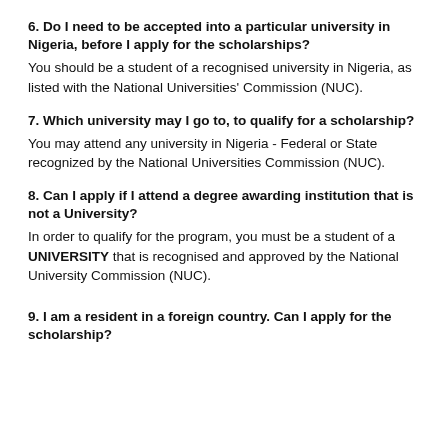6. Do I need to be accepted into a particular university in Nigeria, before I apply for the scholarships?
You should be a student of a recognised university in Nigeria, as listed with the National Universities' Commission (NUC).
7. Which university may I go to, to qualify for a scholarship?
You may attend any university in Nigeria - Federal or State recognized by the National Universities Commission (NUC).
8. Can I apply if I attend a degree awarding institution that is not a University?
In order to qualify for the program, you must be a student of a UNIVERSITY that is recognised and approved by the National University Commission (NUC).
9. I am a resident in a foreign country. Can I apply for the scholarship?